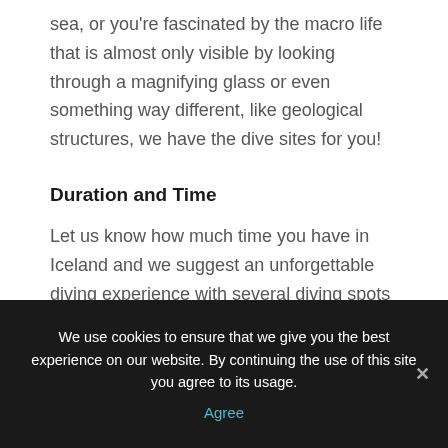sea, or you're fascinated by the macro life that is almost only visible by looking through a magnifying glass or even something way different, like geological structures, we have the dive sites for you!
Duration and Time
Let us know how much time you have in Iceland and we suggest an unforgettable diving experience with several diving spots which spans as many days as you have.
We use cookies to ensure that we give you the best experience on our website. By continuing the use of this site you agree to its usage.
Agree